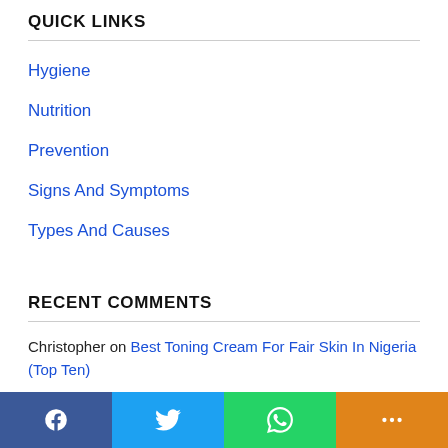QUICK LINKS
Hygiene
Nutrition
Prevention
Signs And Symptoms
Types And Causes
RECENT COMMENTS
Christopher on Best Toning Cream For Fair Skin In Nigeria (Top Ten)
Rosheedat on What is the Best Treatment for